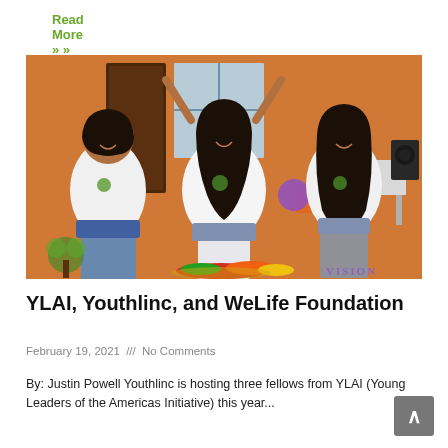Read More »
[Figure (photo): Three young women wearing white WeLife Foundation t-shirts posing outdoors at an event, with one in the center raising both arms. Colorful fruits/food visible at the bottom, WeLife logo bottom-left, VISION text bottom-right.]
YLAI, Youthlinc, and WeLife Foundation
February 19, 2021 /// No Comments
By: Justin Powell Youthlinc is hosting three fellows from YLAI (Young Leaders of the Americas Initiative) this year...